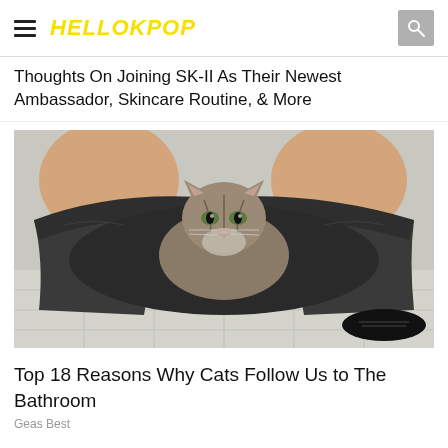HELLOKPOP
Thoughts On Joining SK-II As Their Newest Ambassador, Skincare Routine, & More
[Figure (photo): A tabby cat sitting inside a pair of dark pants/trousers dropped around the ankles of a person sitting on a toilet, in a bathroom setting with white tiles.]
Top 18 Reasons Why Cats Follow Us to The Bathroom
Geas Best